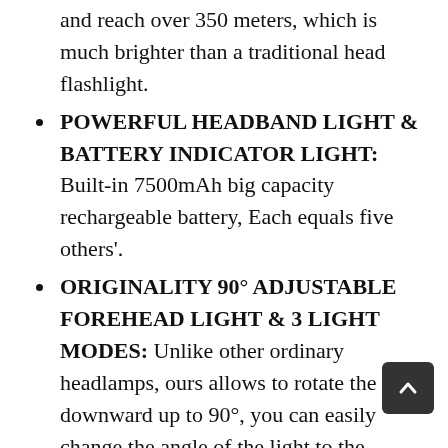and reach over 350 meters, which is much brighter than a traditional head flashlight.
POWERFUL HEADBAND LIGHT & BATTERY INDICATOR LIGHT: Built-in 7500mAh big capacity rechargeable battery, Each equals five others'.
ORIGINALITY 90° ADJUSTABLE FOREHEAD LIGHT & 3 LIGHT MODES: Unlike other ordinary headlamps, ours allows to rotate the strip downward up to 90°, you can easily change the angle of the light to the direction you need, expanding the visible range.
PROFESSIONAL IPX6 WATERPROOF HEADLAMP& PORTABLE: Fully enclosed design to prevent water mist and rain from entering, enough to deal with all inclement weather
RISK-FREE PURCHASE: Don't worry about missing Amazon's 30-day return window, We